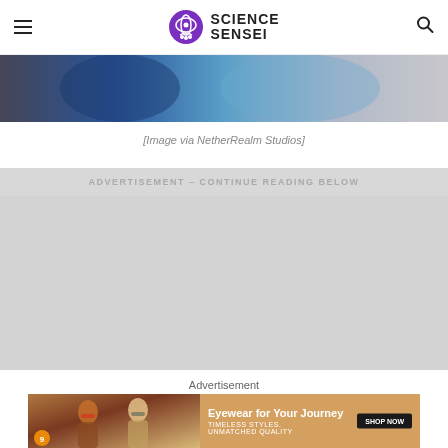Science Sensei
[Figure (photo): Cropped hero image showing video game characters with blue armor and fog effects, from Mortal Kombat by NetherRealm Studios]
[Image via NetherRealm Studios]
ADVERTISEMENT - CONTINUE READING BELOW
[Figure (other): Gray advertisement placeholder area]
Advertisement
[Figure (photo): Advertisement banner: two women wearing stylish sunglasses on left, text on right reading 'Eyewear for Your Journey', 'TIMELESS STYLES. UNMATCHED QUALITY', with a black SHOP NOW button]